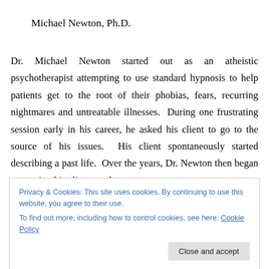Michael Newton, Ph.D.
Dr. Michael Newton started out as an atheistic psychotherapist attempting to use standard hypnosis to help patients get to the root of their phobias, fears, recurring nightmares and untreatable illnesses. During one frustrating session early in his career, he asked his client to go to the source of his issues. His client spontaneously started describing a past life. Over the years, Dr. Newton then began regressing his clients to the
Privacy & Cookies: This site uses cookies. By continuing to use this website, you agree to their use.
To find out more, including how to control cookies, see here: Cookie Policy
that his patients were describing the same aspects of the